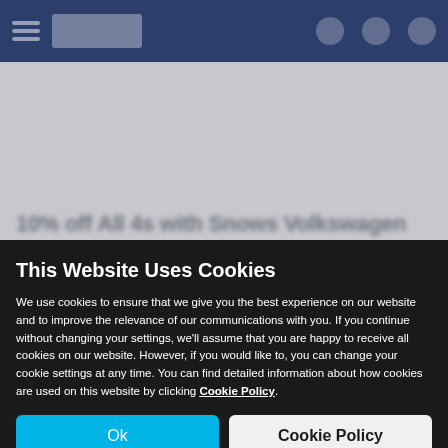[Figure (screenshot): Blurred website background showing a dark blue navigation bar at the top and a light grey page content area with blurred heading text '10% off All 4s with Snows Volkswagen' and blurred subtext.]
This Website Uses Cookies
We use cookies to ensure that we give you the best experience on our website and to improve the relevance of our communications with you. If you continue without changing your settings, we'll assume that you are happy to receive all cookies on our website. However, if you would like to, you can change your cookie settings at any time. You can find detailed information about how cookies are used on this website by clicking Cookie Policy.
Ok
Cookie Policy